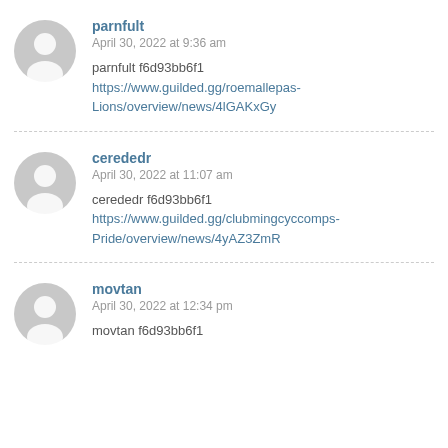parnfult
April 30, 2022 at 9:36 am
parnfult f6d93bb6f1
https://www.guilded.gg/roemallepas-Lions/overview/news/4lGAKxGy
cerededr
April 30, 2022 at 11:07 am
cerededr f6d93bb6f1
https://www.guilded.gg/clubmingcyccomps-Pride/overview/news/4yAZ3ZmR
movtan
April 30, 2022 at 12:34 pm
movtan f6d93bb6f1